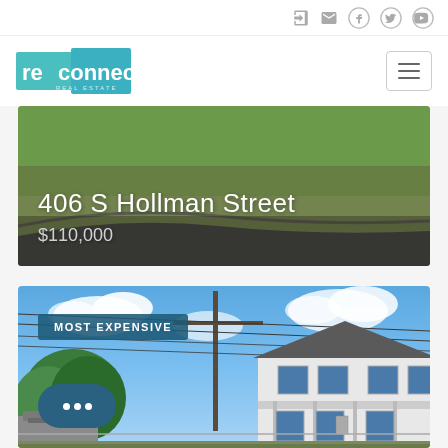[Figure (logo): Reconnect Real Estate logo - teal and white geometric logo with text]
406 S Hollman Street
$110,000
MOST EXPENSIVE
[Figure (photo): Exterior photo of a two-story white house with blue sky background, utility pole in foreground, trees on left side]